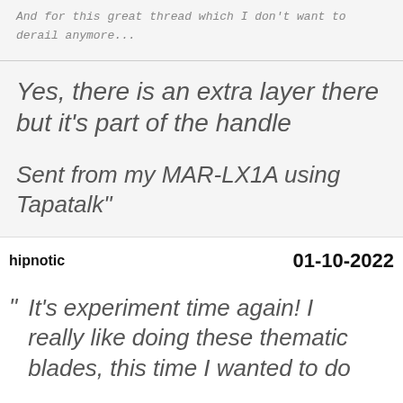And for this great thread which I don't want to derail anymore...
Yes, there is an extra layer there but it's part of the handle
Sent from my MAR-LX1A using Tapatalk"
hipnotic
01-10-2022
It's experiment time again! I really like doing these thematic blades, this time I wanted to do